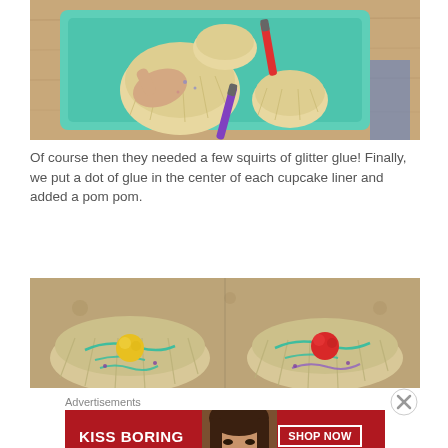[Figure (photo): Overhead view of teal tray on wooden table with cupcake liners and markers, person's hand visible drawing on liners]
Of course then they needed a few squirts of glitter glue! Finally, we put a dot of glue in the center of each cupcake liner and added a pom pom.
[Figure (photo): Cupcake liners flattened and decorated with marker, with yellow and red pom poms glued in center, on granite surface]
Advertisements
[Figure (other): Macy's advertisement: KISS BORING LIPS GOODBYE with woman's face, SHOP NOW button and Macy's star logo]